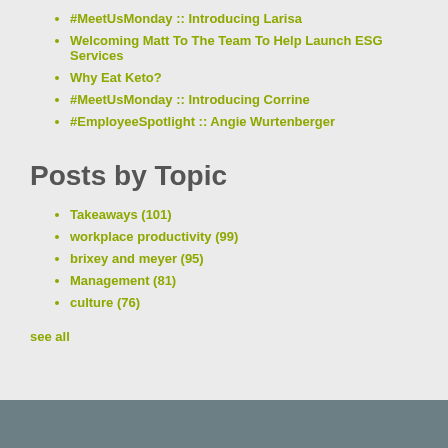#MeetUsMonday :: Introducing Larisa
Welcoming Matt To The Team To Help Launch ESG Services
Why Eat Keto?
#MeetUsMonday :: Introducing Corrine
#EmployeeSpotlight :: Angie Wurtenberger
Posts by Topic
Takeaways (101)
workplace productivity (99)
brixey and meyer (95)
Management (81)
culture (76)
see all